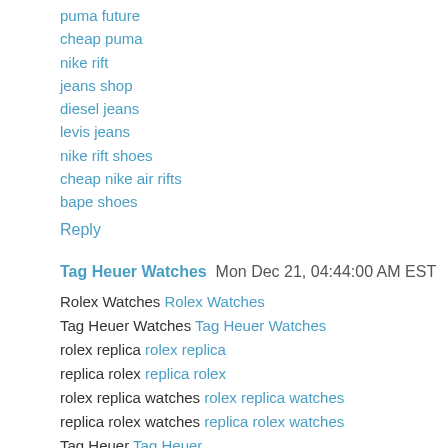puma future
cheap puma
nike rift
jeans shop
diesel jeans
levis jeans
nike rift shoes
cheap nike air rifts
bape shoes
Reply
Tag Heuer Watches  Mon Dec 21, 04:44:00 AM EST
Rolex Watches Rolex Watches
Tag Heuer Watches Tag Heuer Watches
rolex replica rolex replica
replica rolex replica rolex
rolex replica watches rolex replica watches
replica rolex watches replica rolex watches
Tag Heuer Tag Heuer
replica Tag Heuer replica Tag Heuer
Tag Heuer replica Tag Heuer replica